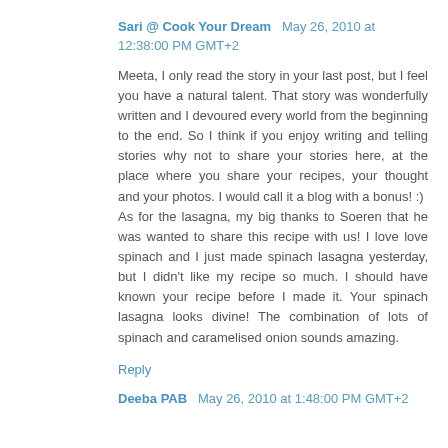Sari @ Cook Your Dream  May 26, 2010 at 12:38:00 PM GMT+2
Meeta, I only read the story in your last post, but I feel you have a natural talent. That story was wonderfully written and I devoured every world from the beginning to the end. So I think if you enjoy writing and telling stories why not to share your stories here, at the place where you share your recipes, your thought and your photos. I would call it a blog with a bonus! :)
As for the lasagna, my big thanks to Soeren that he was wanted to share this recipe with us! I love love spinach and I just made spinach lasagna yesterday, but I didn't like my recipe so much. I should have known your recipe before I made it. Your spinach lasagna looks divine! The combination of lots of spinach and caramelised onion sounds amazing.
Reply
Deeba PAB  May 26, 2010 at 1:48:00 PM GMT+2